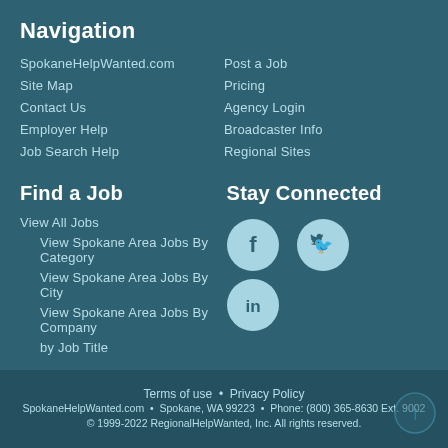Navigation
SpokaneHelpWanted.com
Site Map
Contact Us
Employer Help
Job Search Help
Post a Job
Pricing
Agency Login
Broadcaster Info
Regional Sites
Find a Job
Stay Connected
View All Jobs
View Spokane Area Jobs By Category
View Spokane Area Jobs By City
View Spokane Area Jobs By Company
by Job Title
[Figure (logo): Facebook icon circle]
[Figure (logo): Twitter icon circle]
[Figure (logo): LinkedIn icon circle]
Terms of use • Privacy Policy
SpokaneHelpWanted.com • Spokane, WA 99223 • Phone: (800) 365-8630 Ext. 9002
© 1999-2022 RegionalHelpWanted, Inc. All rights reserved.